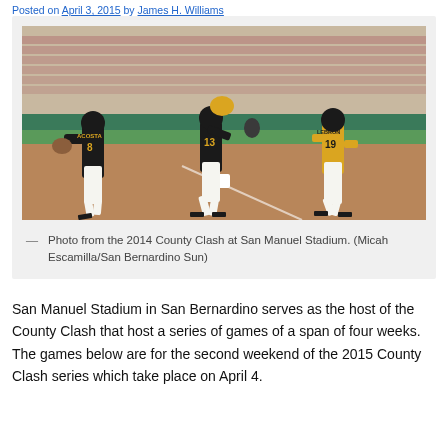Posted on April 3, 2015 by James H. Williams
[Figure (photo): Baseball players on a field at San Manuel Stadium during the 2014 County Clash. Player #8 ACOSTA on left, player #13 in center catching, player #19 LEBRON on right running.]
— Photo from the 2014 County Clash at San Manuel Stadium. (Micah Escamilla/San Bernardino Sun)
San Manuel Stadium in San Bernardino serves as the host of the County Clash that host a series of games of a span of four weeks. The games below are for the second weekend of the 2015 County Clash series which take place on April 4.